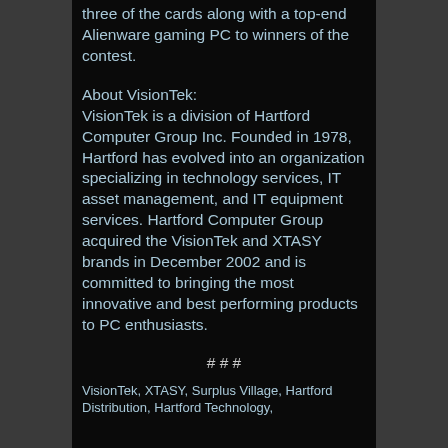three of the cards along with a top-end Alienware gaming PC to winners of the contest.
About VisionTek:
VisionTek is a division of Hartford Computer Group Inc. Founded in 1978, Hartford has evolved into an organization specializing in technology services, IT asset management, and IT equipment services. Hartford Computer Group acquired the VisionTek and XTASY brands in December 2002 and is committed to bringing the most innovative and best performing products to PC enthusiasts.
# # #
VisionTek, XTASY, Surplus Village, Hartford Distribution, Hartford Technology,